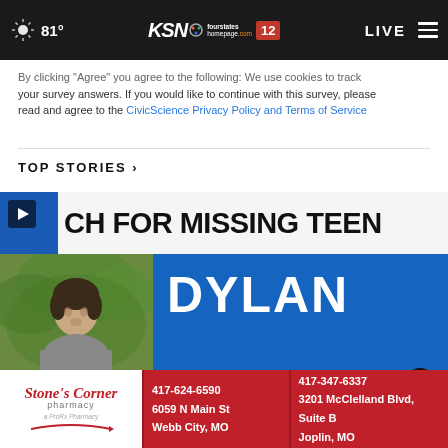81° KSN fourstates homepage.com 12 LIVE
By clicking "Agree" you agree to the following: We use cookies to track your survey answers. If you would like to continue with this survey, please read and agree to the CivicScience Privacy Policy and Terms of Service
TOP STORIES ›
[Figure (screenshot): News video thumbnail showing 'CH FOR MISSING TEEN' breaking news banner with a photo of a young male (Dylan) on a blue background]
[Figure (infographic): Stone's Corner Pharmacy advertisement banner with contact info: 417-624-6590, 6059 N Main St, Webb City, MO and 417-347-6337, 3201 McClelland Blvd, Suite B, Joplin, MO]